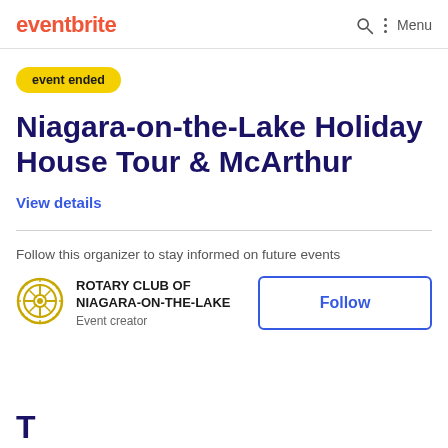eventbrite
event ended
Niagara-on-the-Lake Holiday House Tour & McArthur
View details
Follow this organizer to stay informed on future events
ROTARY CLUB OF NIAGARA-ON-THE-LAKE
Event creator
Follow